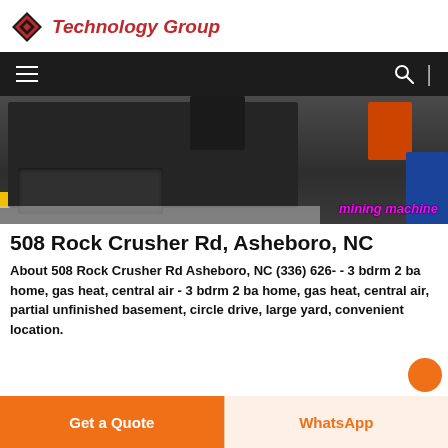Technology Group
[Figure (photo): A screenshot of a website showing a dark nav bar with hamburger menu and search icon, followed by a photo of a large industrial mining machine/rock crusher on gravel, with 'mining machine' text overlaid in pink/magenta italic font.]
508 Rock Crusher Rd, Asheboro, NC
About 508 Rock Crusher Rd Asheboro, NC (336) 626- - 3 bdrm 2 ba home, gas heat, central air - 3 bdrm 2 ba home, gas heat, central air, partial unfinished basement, circle drive, large yard, convenient location.
Get a Quote | WhatsApp